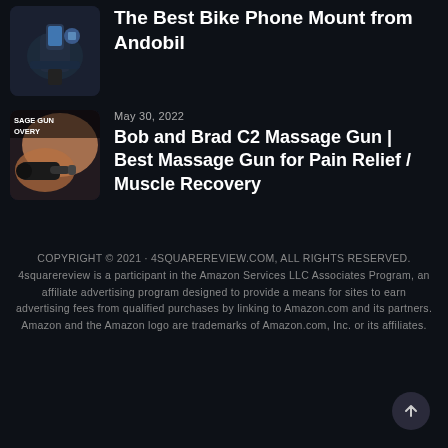[Figure (photo): Product photo of a bike phone mount on dark background]
The Best Bike Phone Mount from Andobil
[Figure (photo): Product image with text 'MASSAGE GUN RECOVERY' showing a massage gun being used on a shoulder]
May 30, 2022
Bob and Brad C2 Massage Gun | Best Massage Gun for Pain Relief / Muscle Recovery
COPYRIGHT © 2021 · 4SQUAREREVIEW.COM, ALL RIGHTS RESERVED. 4squarereview is a participant in the Amazon Services LLC Associates Program, an affiliate advertising program designed to provide a means for sites to earn advertising fees from qualified purchases by linking to Amazon.com and its partners. Amazon and the Amazon logo are trademarks of Amazon.com, Inc. or its affiliates.